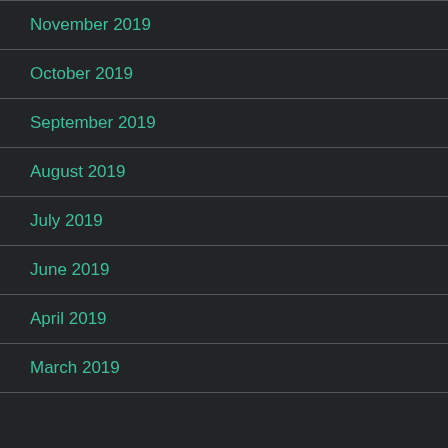November 2019
October 2019
September 2019
August 2019
July 2019
June 2019
April 2019
March 2019